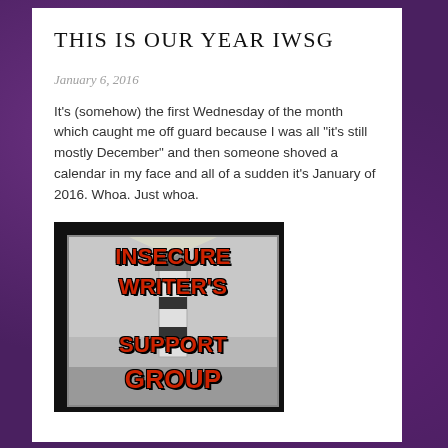THIS IS OUR YEAR IWSG
January 6, 2016
It’s (somehow) the first Wednesday of the month which caught me off guard because I was all “it’s still mostly December” and then someone shoved a calendar in my face and all of a sudden it’s January of 2016. Whoa. Just whoa.
[Figure (illustration): IWSG (Insecure Writer's Support Group) badge/logo showing red bold text on a grey background with a lighthouse silhouette, surrounded by a black border frame.]